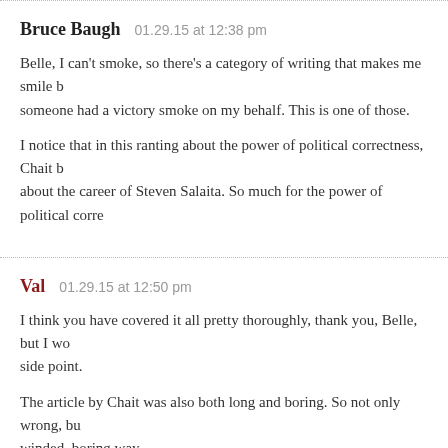Bruce Baugh   01.29.15 at 12:38 pm
Belle, I can't smoke, so there's a category of writing that makes me smile b… someone had a victory smoke on my behalf. This is one of those.
I notice that in this ranting about the power of political correctness, Chait b… about the career of Steven Salaita. So much for the power of political corre…
Val   01.29.15 at 12:50 pm
I think you have covered it all pretty thoroughly, thank you, Belle, but I wo… side point.
The article by Chait was also both long and boring. So not only wrong, bu… winded, boring way.
George de Verges   01.29.15 at 1:05 pm